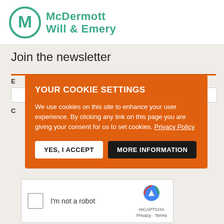[Figure (logo): McDermott Will & Emery logo with circular M icon in teal/green and text]
Join the newsletter
YOUR COOKIE SETTINGS
We use cookies on this site to enhance your user experience. By clicking any link on this page you are giving your consent for us to set cookies. Privacy Policy
YES, I ACCEPT
MORE INFORMATION
[Figure (other): reCAPTCHA widget with checkbox, 'I'm not a robot' text, and reCAPTCHA logo with Privacy and Terms links]